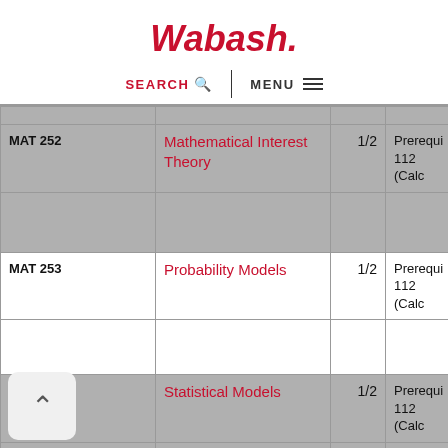Wabash.
SEARCH  |  MENU
| Course | Name | Credits | Prereq |
| --- | --- | --- | --- |
| MAT 252 | Mathematical Interest Theory | 1/2 | Prerequi... 112 (Calc |
| MAT 253 | Probability Models | 1/2 | Prerequi... 112 (Calc |
| MAT 254 | Statistical Models | 1/2 | Prerequi... 112 (Calc |
| ...314 | Modeling with Differential Equations | 1 | Prerequi... 224. |